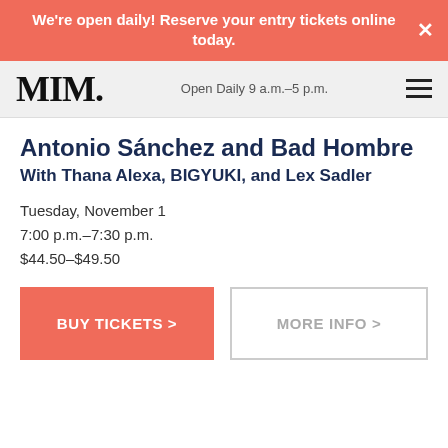We're open daily! Reserve your entry tickets online today.
MIM — Open Daily 9 a.m.–5 p.m.
Antonio Sánchez and Bad Hombre
With Thana Alexa, BIGYUKI, and Lex Sadler
Tuesday, November 1
7:00 p.m.–7:30 p.m.
$44.50–$49.50
BUY TICKETS >
MORE INFO >